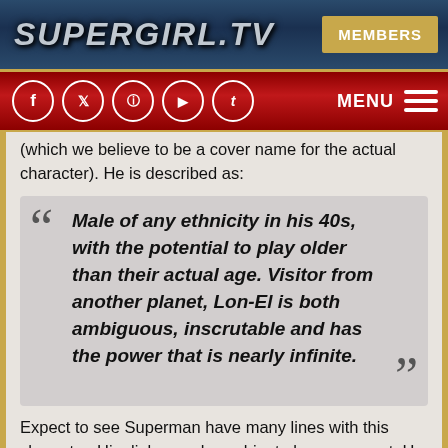SUPERGIRL.TV   MEMBERS
[Figure (screenshot): Navigation bar with social media icons (Facebook, Twitter, Instagram, YouTube, Tumblr) and MENU hamburger button on red background]
(which we believe to be a cover name for the actual character). He is described as:
Male of any ethnicity in his 40s, with the potential to play older than their actual age. Visitor from another planet, Lon-El is both ambiguous, inscrutable and has the power that is nearly infinite.
Expect to see Superman have many lines with this character. His dialogue shows him to be very smart. He is the smartest one in the room and he knows it. His knowledge of the multiverse is vast and spans much more